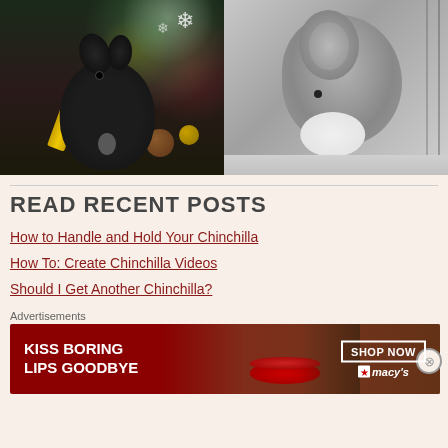[Figure (photo): Two chinchilla photos side by side: left shows a black chinchilla with Christmas decorations (snowflakes, ornaments, colorful wrapping), right shows a gray and white chinchilla curled up/resting]
READ RECENT POSTS
How to Handle and Hold Your Chinchilla
How To: Create Chinchilla Videos
Should I Get Another Chinchilla?
Advertisements
[Figure (photo): Macy's advertisement banner: red background with woman's face and red lips, text 'KISS BORING LIPS GOODBYE' on left, 'SHOP NOW' button and Macy's star logo on right]